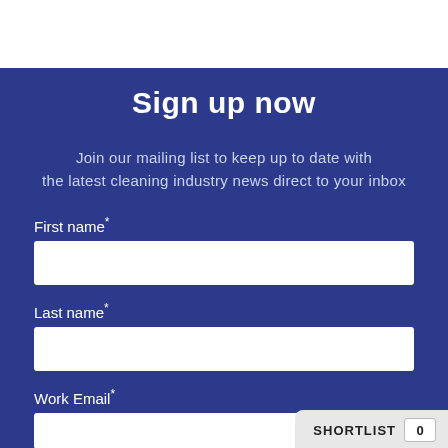Sign up now
Join our mailing list to keep up to date with the latest cleaning industry news direct to your inbox
First name*
Last name*
Work Email*
SHORTLIST 0